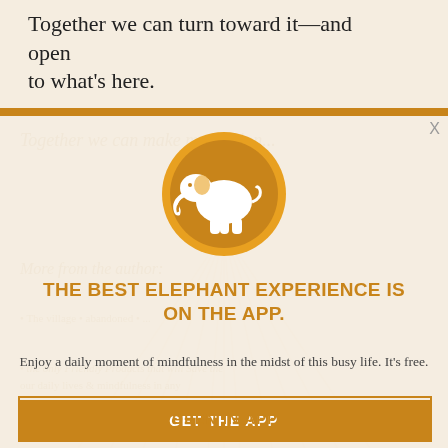Together we can turn toward it—and open to what's here.
[Figure (screenshot): App promotion modal overlay on an article page. Contains an orange elephant logo circle, headline 'THE BEST ELEPHANT EXPERIENCE IS ON THE APP.', subtext 'Enjoy a daily moment of mindfulness in the midst of this busy life. It's free.', an orange 'GET THE APP' button, and an outlined 'OPEN IN APP' button. An X close button appears in the top-right corner of the modal.]
THE BEST ELEPHANT EXPERIENCE IS ON THE APP.
Enjoy a daily moment of mindfulness in the midst of this busy life. It's free.
GET THE APP
OPEN IN APP